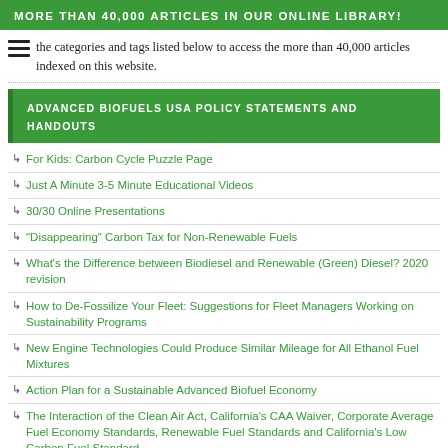MORE THAN 40,000 ARTICLES IN OUR ONLINE LIBRARY!
the categories and tags listed below to access the more than 40,000 articles indexed on this website.
ADVANCED BIOFUELS USA POLICY STATEMENTS AND HANDOUTS
For Kids: Carbon Cycle Puzzle Page
Just A Minute 3-5 Minute Educational Videos
30/30 Online Presentations
“Disappearing” Carbon Tax for Non-Renewable Fuels
What’s the Difference between Biodiesel and Renewable (Green) Diesel? 2020 revision
How to De-Fossilize Your Fleet: Suggestions for Fleet Managers Working on Sustainability Programs
New Engine Technologies Could Produce Similar Mileage for All Ethanol Fuel Mixtures
Action Plan for a Sustainable Advanced Biofuel Economy
The Interaction of the Clean Air Act, California’s CAA Waiver, Corporate Average Fuel Economy Standards, Renewable Fuel Standards and California’s Low Carbon Fuel Standard
Latest Data on Fuel Mileage and GHG Benefits of E30